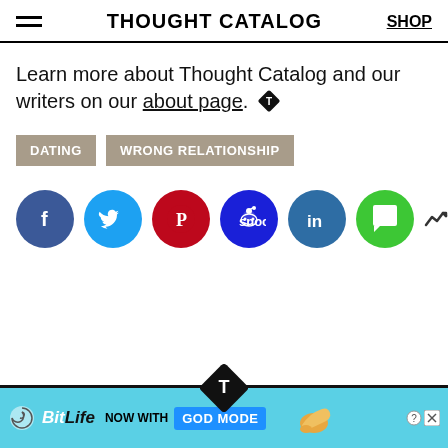THOUGHT CATALOG  SHOP
Learn more about Thought Catalog and our writers on our about page.
DATING
WRONG RELATIONSHIP
[Figure (infographic): Social share buttons: Facebook, Twitter, Pinterest, Reddit, LinkedIn, iMessage. Share count: 3.8k]
[Figure (infographic): BitLife advertisement banner — NOW WITH GOD MODE]
[Figure (logo): Thought Catalog diamond T logo at bottom bar]